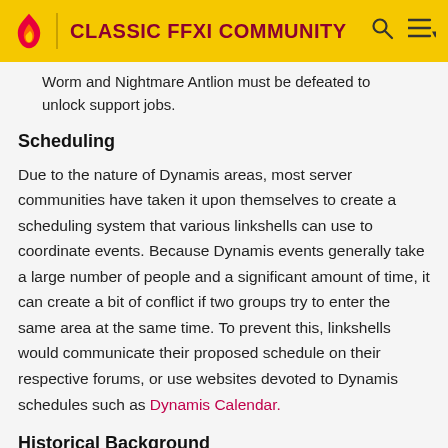CLASSIC FFXI COMMUNITY
Worm and Nightmare Antlion must be defeated to unlock support jobs.
Scheduling
Due to the nature of Dynamis areas, most server communities have taken it upon themselves to create a scheduling system that various linkshells can use to coordinate events. Because Dynamis events generally take a large number of people and a significant amount of time, it can create a bit of conflict if two groups try to enter the same area at the same time. To prevent this, linkshells would communicate their proposed schedule on their respective forums, or use websites devoted to Dynamis schedules such as Dynamis Calendar.
Historical Background